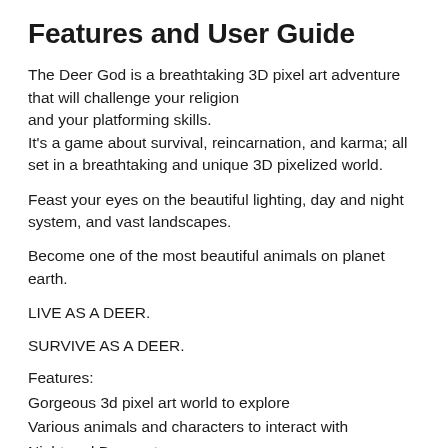Features and User Guide
The Deer God is a breathtaking 3D pixel art adventure that will challenge your religion
and your platforming skills.
It's a game about survival, reincarnation, and karma; all set in a breathtaking and unique 3D pixelized world.
Feast your eyes on the beautiful lighting, day and night system, and vast landscapes.
Become one of the most beautiful animals on planet earth.
LIVE AS A DEER.
SURVIVE AS A DEER.
Features:
Gorgeous 3d pixel art world to explore
Various animals and characters to interact with
Night and Day system